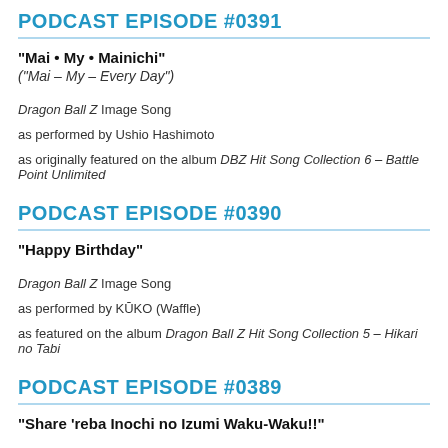PODCAST EPISODE #0391
“Mai • My • Mainichi”
(“Mai – My – Every Day”)
Dragon Ball Z Image Song
as performed by Ushio Hashimoto
as originally featured on the album DBZ Hit Song Collection 6 – Battle Point Unlimited
PODCAST EPISODE #0390
“Happy Birthday”
Dragon Ball Z Image Song
as performed by KŪKO (Waffle)
as featured on the album Dragon Ball Z Hit Song Collection 5 – Hikari no Tabi
PODCAST EPISODE #0389
“Share ’reba Inochi no Izumi Waku-Waku!!”